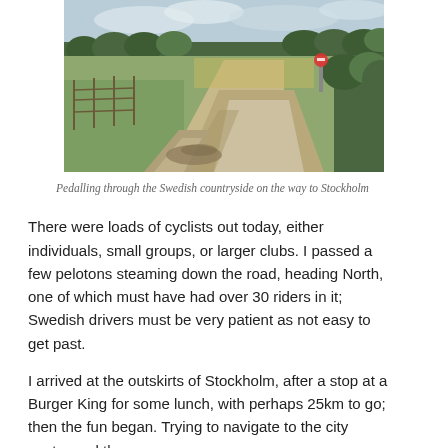[Figure (photo): A gravel country road in the Swedish countryside, with grass verges, wooden fence on the left, trees in the background, and an overcast sky. The road curves to the right.]
Pedalling through the Swedish countryside on the way to Stockholm
There were loads of cyclists out today, either individuals, small groups, or larger clubs. I passed a few pelotons steaming down the road, heading North, one of which must have had over 30 riders in it; Swedish drivers must be very patient as not easy to get past.
I arrived at the outskirts of Stockholm, after a stop at a Burger King for some lunch, with perhaps 25km to go; then the fun began. Trying to navigate to the city centre and the